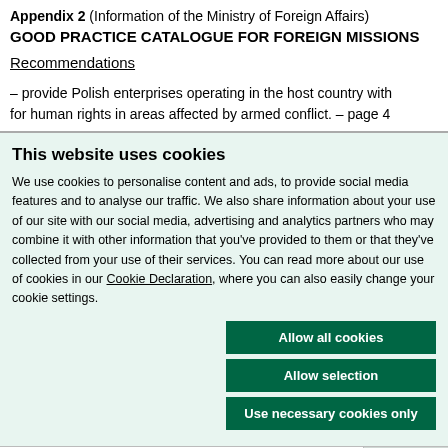Appendix 2 (Information of the Ministry of Foreign Affairs)
GOOD PRACTICE CATALOGUE FOR FOREIGN MISSIONS
Recommendations
– provide Polish enterprises operating in the host country with... for human rights in areas affected by armed conflict. – page 4
This website uses cookies
We use cookies to personalise content and ads, to provide social media features and to analyse our traffic. We also share information about your use of our site with our social media, advertising and analytics partners who may combine it with other information that you've provided to them or that they've collected from your use of their services. You can read more about our use of cookies in our Cookie Declaration, where you can also easily change your cookie settings.
Allow all cookies
Allow selection
Use necessary cookies only
| Necessary | Preferences | Statistics | Show details |
| --- | --- | --- | --- |
| Marketing |  |  |  |